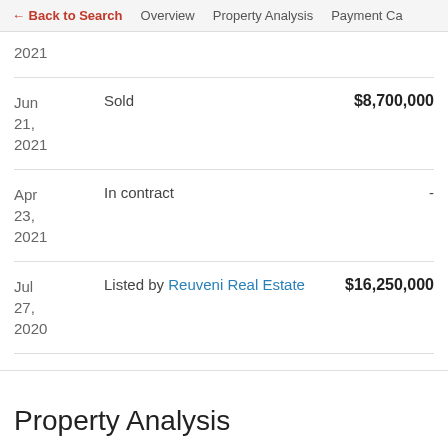← Back to Search   Overview   Property Analysis   Payment Ca
| Date | Event | Price |
| --- | --- | --- |
| 2021 |  |  |
| Jun 21, 2021 | Sold | $8,700,000 |
| Apr 23, 2021 | In contract | - |
| Jul 27, 2020 | Listed by Reuveni Real Estate | $16,250,000 |
Property Analysis
Cap Rate Analysis